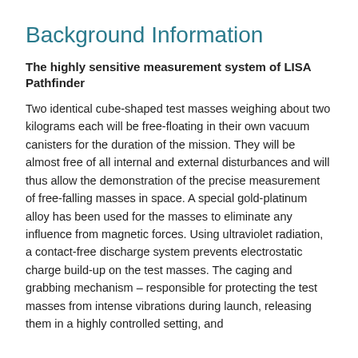Background Information
The highly sensitive measurement system of LISA Pathfinder
Two identical cube-shaped test masses weighing about two kilograms each will be free-floating in their own vacuum canisters for the duration of the mission. They will be almost free of all internal and external disturbances and will thus allow the demonstration of the precise measurement of free-falling masses in space. A special gold-platinum alloy has been used for the masses to eliminate any influence from magnetic forces. Using ultraviolet radiation, a contact-free discharge system prevents electrostatic charge build-up on the test masses. The caging and grabbing mechanism – responsible for protecting the test masses from intense vibrations during launch, releasing them in a highly controlled setting, and